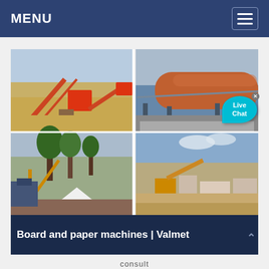MENU
[Figure (photo): Four-panel photo grid showing industrial/mining equipment: top-left shows conveyor belts and crushers at a quarry site; top-right shows a large rotary kiln or industrial drum with a Live Chat bubble overlay; bottom-left shows a mining site with trees, a crane, and a white stockpile; bottom-right shows a quarry or aggregate plant with yellow machinery and structures.]
Board and paper machines | Valmet
consult